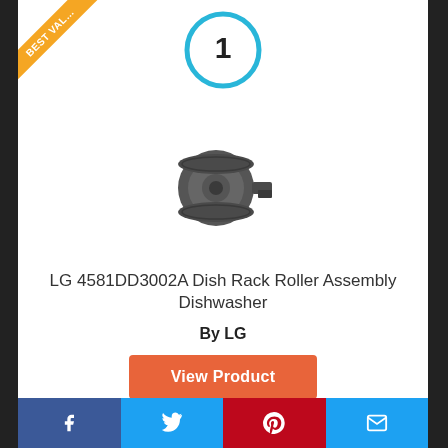[Figure (illustration): Best Value ribbon badge in top-left corner]
[Figure (illustration): Rank number 1 inside a cyan/light-blue circle]
[Figure (photo): LG 4581DD3002A Dish Rack Roller Assembly Dishwasher product photo — dark gray plastic roller/pulley component]
LG 4581DD3002A Dish Rack Roller Assembly Dishwasher
By LG
View Product
9.8
Score
Facebook | Twitter | Pinterest | Email social share bar